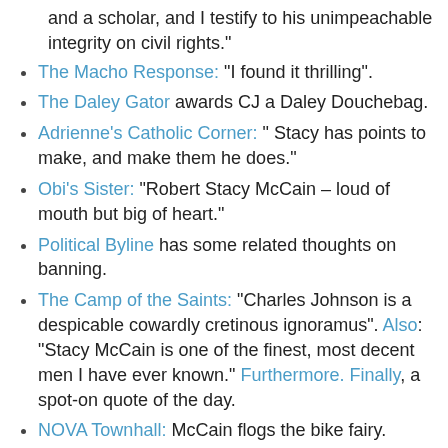and a scholar, and I testify to his unimpeachable integrity on civil rights."
The Macho Response: "I found it thrilling".
The Daley Gator awards CJ a Daley Douchebag.
Adrienne's Catholic Corner: " Stacy has points to make, and make them he does."
Obi's Sister: "Robert Stacy McCain – loud of mouth but big of heart."
Political Byline has some related thoughts on banning.
The Camp of the Saints: "Charles Johnson is a despicable cowardly cretinous ignoramus". Also: "Stacy McCain is one of the finest, most decent men I have ever known." Furthermore. Finally, a spot-on quote of the day.
NOVA Townhall: McCain flogs the bike fairy.
Ace of Spades HQ: "Obergruppenkommander Charles Speaks: Hot Air Racist, Fascist; Must Be Purged"
...